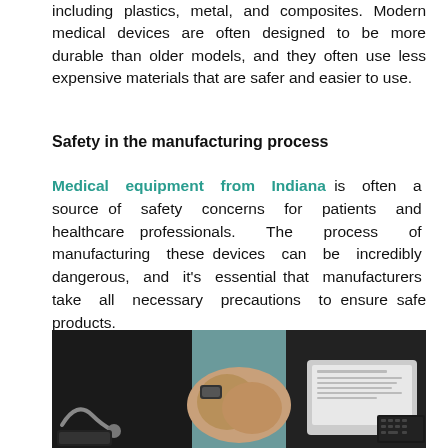including plastics, metal, and composites. Modern medical devices are often designed to be more durable than older models, and they often use less expensive materials that are safer and easier to use.
Safety in the manufacturing process
Medical equipment from Indiana is often a source of safety concerns for patients and healthcare professionals. The process of manufacturing these devices can be incredibly dangerous, and it's essential that manufacturers take all necessary precautions to ensure safe products.
[Figure (photo): A person with hands clasped together on a desk, with a stethoscope, a device, and a laptop/tablet visible on a teal surface.]